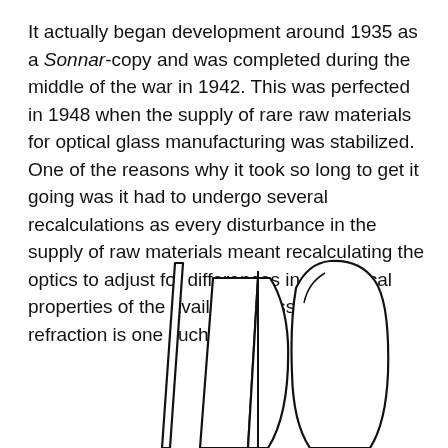It actually began development around 1935 as a Sonnar-copy and was completed during the middle of the war in 1942. This was perfected in 1948 when the supply of rare raw materials for optical glass manufacturing was stabilized. One of the reasons why it took so long to get it going was it had to undergo several recalculations as every disturbance in the supply of raw materials meant recalculating the optics to adjust for differences in the optical properties of the available glass. Index-of-refraction is one such property.
[Figure (engineering-diagram): Cross-sectional line drawing of optical lens elements showing multiple lens groups with curved and flat surfaces, partially cropped at the bottom of the page.]